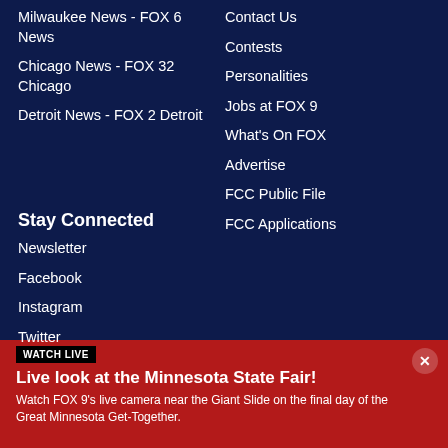Milwaukee News - FOX 6 News
Chicago News - FOX 32 Chicago
Detroit News - FOX 2 Detroit
Contact Us
Contests
Personalities
Jobs at FOX 9
What's On FOX
Advertise
FCC Public File
FCC Applications
Stay Connected
Newsletter
Facebook
Instagram
Twitter
WATCH LIVE
Live look at the Minnesota State Fair!
Watch FOX 9's live camera near the Giant Slide on the final day of the Great Minnesota Get-Together.